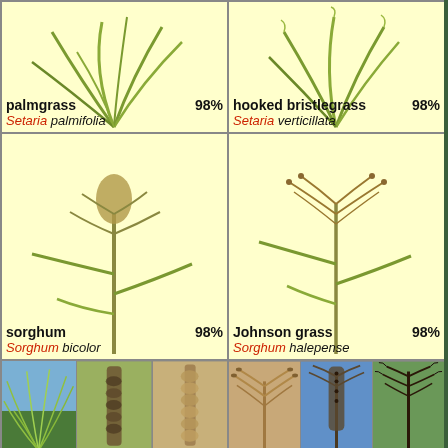[Figure (photo): palmgrass plant illustration - yellow-cream background, top-left cell]
palmgrass 98%
Setaria palmifolia
[Figure (photo): hooked bristlegrass plant illustration - yellow-cream background, top-right cell]
hooked bristlegrass 98%
Setaria verticillata
[Figure (photo): sorghum plant illustration - yellow-cream background, bottom-left cell]
sorghum 98%
Sorghum bicolor
[Figure (photo): Johnson grass plant illustration - yellow-cream background, bottom-right cell]
Johnson grass 98%
Sorghum halepense
[Figure (photo): Six reference photos of grass seed heads: three for sorghum/palmgrass (left half) and three for Johnson grass (right half)]